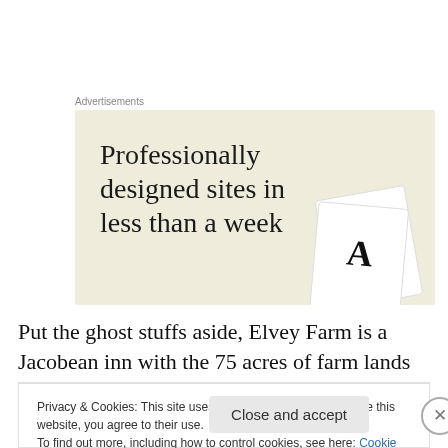Advertisements
[Figure (illustration): Advertisement banner with beige/cream background showing text 'Professionally designed sites in less than a week' with decorative card graphics on the right side.]
Put the ghost stuffs aside, Elvey Farm is a Jacobean inn with the 75 acres of farm lands surrounded by rolling hills,
Privacy & Cookies: This site uses cookies. By continuing to use this website, you agree to their use.
To find out more, including how to control cookies, see here: Cookie Policy
Close and accept